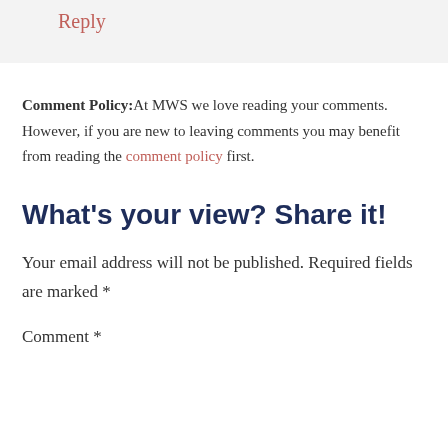Reply
Comment Policy: At MWS we love reading your comments. However, if you are new to leaving comments you may benefit from reading the comment policy first.
What's your view? Share it!
Your email address will not be published. Required fields are marked *
Comment *